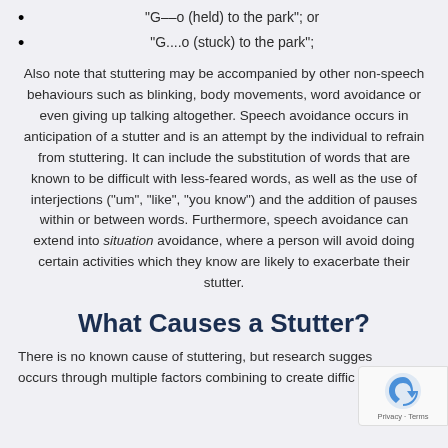“G—–o (held) to the park”; or
“G....o (stuck) to the park”;
Also note that stuttering may be accompanied by other non-speech behaviours such as blinking, body movements, word avoidance or even giving up talking altogether. Speech avoidance occurs in anticipation of a stutter and is an attempt by the individual to refrain from stuttering. It can include the substitution of words that are known to be difficult with less-feared words, as well as the use of interjections (“um”, “like”, “you know”) and the addition of pauses within or between words. Furthermore, speech avoidance can extend into situation avoidance, where a person will avoid doing certain activities which they know are likely to exacerbate their stutter.
What Causes a Stutter?
There is no known cause of stuttering, but research suggests it occurs through multiple factors combining to create diffic...